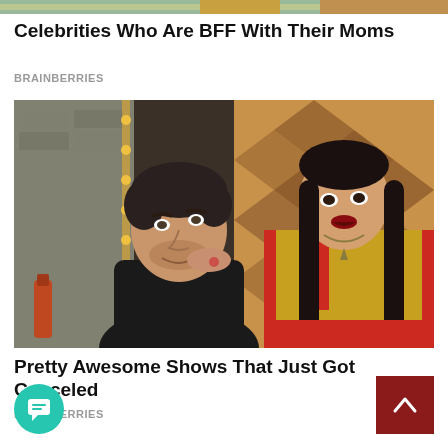[Figure (photo): Partial top image strip, partially visible at the top of the page]
Celebrities Who Are BFF With Their Moms
BRAINBERRIES
[Figure (photo): Two people posing together: a man in a black sweater and a woman in a yellow and red outfit with long dark hair, in a TV show set]
Pretty Awesome Shows That Just Got Canceled
BRAINBERRIES